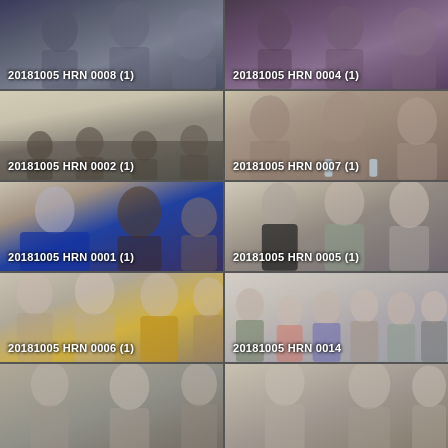[Figure (photo): Photo of students in a lecture/meeting room, seated and looking forward. Label: 20181005 HRN 0008 (1)]
[Figure (photo): Photo of students seated in a room listening. Label: 20181005 HRN 0004 (1)]
[Figure (photo): Wide room photo with many students seated at tables. Label: 20181005 HRN 0002 (1)]
[Figure (photo): Close-up of several students seated, attentive. Label: 20181005 HRN 0007 (1)]
[Figure (photo): Photo of young man in blue shirt speaking or listening, others nearby. Label: 20181005 HRN 0001 (1)]
[Figure (photo): Older man with cap and younger women standing, looking forward. Label: 20181005 HRN 0005 (1)]
[Figure (photo): Group of young women, one in gold Penn State shirt, looking up. Label: 20181005 HRN 0006 (1)]
[Figure (photo): Group photo of students and faculty smiling together. Label: 20181005 HRN 0014]
[Figure (photo): Partial photo at bottom left, people visible.]
[Figure (photo): Partial photo at bottom right, people visible.]